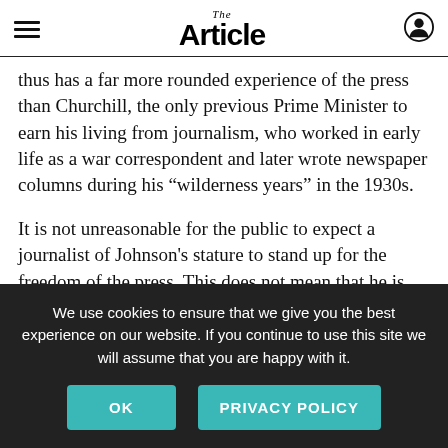The Article
thus has a far more rounded experience of the press than Churchill, the only previous Prime Minister to earn his living from journalism, who worked in early life as a war correspondent and later wrote newspaper columns during his “wilderness years” in the 1930s.
It is not unreasonable for the public to expect a journalist of Johnson's stature to stand up for the freedom of the press. This does not mean that he is obliged to ignore journalistic bias. Downing Street has banned ministers from appearing on two
We use cookies to ensure that we give you the best experience on our website. If you continue to use this site we will assume that you are happy with it.
OK    PRIVACY POLICY